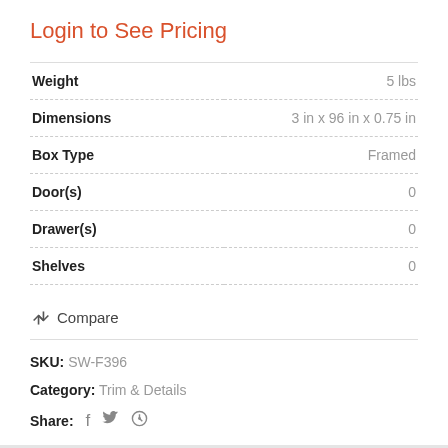Login to See Pricing
| Attribute | Value |
| --- | --- |
| Weight | 5 lbs |
| Dimensions | 3 in x 96 in x 0.75 in |
| Box Type | Framed |
| Door(s) | 0 |
| Drawer(s) | 0 |
| Shelves | 0 |
⇄ Compare
SKU: SW-F396
Category: Trim & Details
Share: f 🐦 ⓟ